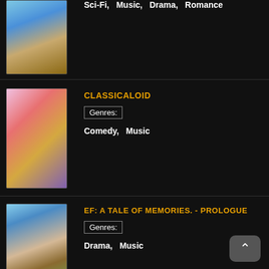Sci-Fi,  Music,  Drama,  Romance
[Figure (illustration): Anime cover art for first entry (partially visible at top)]
CLASSICALOID
Genres:
Comedy,  Music
[Figure (illustration): Classicaloid anime cover art showing anime characters]
EF: A TALE OF MEMORIES. - PROLOGUE
Genres:
Drama,  Music
[Figure (illustration): EF: A Tale of Memories anime cover art showing a girl in school uniform]